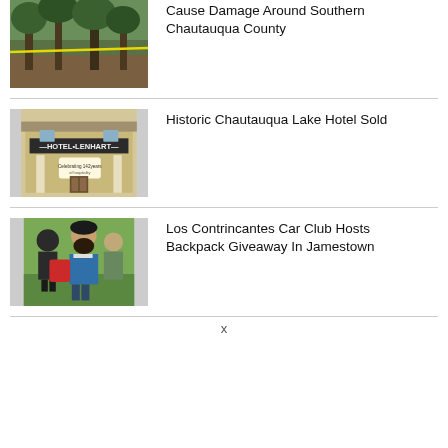[Figure (photo): Outdoor scene with trees and yellow caution tape]
Cause Damage Around Southern Chautauqua County
[Figure (photo): Hotel Lenhart building exterior with sign reading Celebrating 142 Years]
Historic Chautauqua Lake Hotel Sold
[Figure (photo): Person with beard in blue jacket handing a backpack to someone at an outdoor event]
Los Contrincantes Car Club Hosts Backpack Giveaway In Jamestown